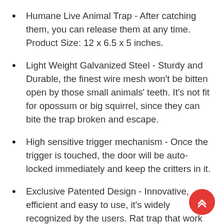Humane Live Animal Trap - After catching them, you can release them at any time. Product Size: 12 x 6.5 x 5 inches.
Light Weight Galvanized Steel - Sturdy and Durable, the finest wire mesh won't be bitten open by those small animals' teeth. It's not fit for opossum or big squirrel, since they can bite the trap broken and escape.
High sensitive trigger mechanism - Once the trigger is touched, the door will be auto-locked immediately and keep the critters in it.
Exclusive Patented Design - Innovative, efficient and easy to use, it's widely recognized by the users. Rat trap that work for chipmunk, rat, mouse and other rodent animal.